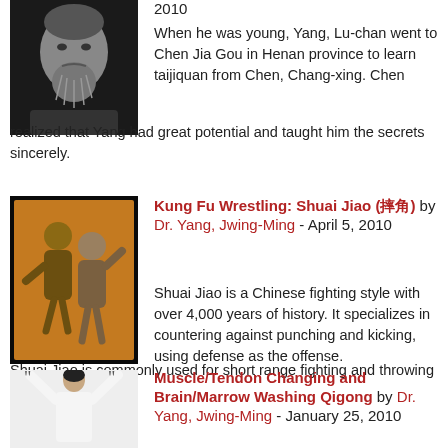[Figure (photo): Black and white portrait photo of an elderly Chinese man with a beard, likely Yang Lu-chan]
2010
When he was young, Yang, Lu-chan went to Chen Jia Gou in Henan province to learn taijiquan from Chen, Chang-xing. Chen realized that Yang had great potential and taught him the secrets sincerely.
[Figure (photo): Traditional painting/illustration of two martial artists wrestling, Shuai Jiao style, on an orange/brown background]
Kung Fu Wrestling: Shuai Jiao (摔角) by Dr. Yang, Jwing-Ming - April 5, 2010
Shuai Jiao is a Chinese fighting style with over 4,000 years of history. It specializes in countering against punching and kicking, using defense as the offense. Shuai Jiao is commonly used for short range fighting and throwing down an opponent.
[Figure (photo): Black and white photo of a person in white martial arts uniform with arms raised above head]
Muscle/Tendon Changing and Brain/Marrow Washing Qigong by Dr. Yang, Jwing-Ming - January 25, 2010
China has more than seven thousand years of history. The greatest contribution it can make